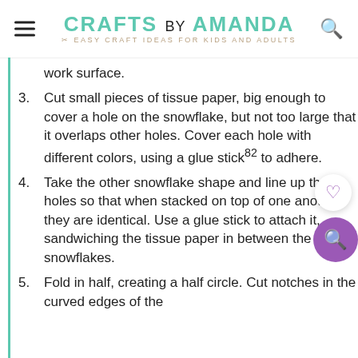CRAFTS BY AMANDA — EASY CRAFT IDEAS FOR KIDS AND ADULTS
work surface.
3. Cut small pieces of tissue paper, big enough to cover a hole on the snowflake, but not too large that it overlaps other holes. Cover each hole with different colors, using a glue stick82 to adhere.
4. Take the other snowflake shape and line up the holes so that when stacked on top of one another they are identical. Use a glue stick to attach it, sandwiching the tissue paper in between the two snowflakes.
5. Fold in half, creating a half circle. Cut notches in the curved edges of the